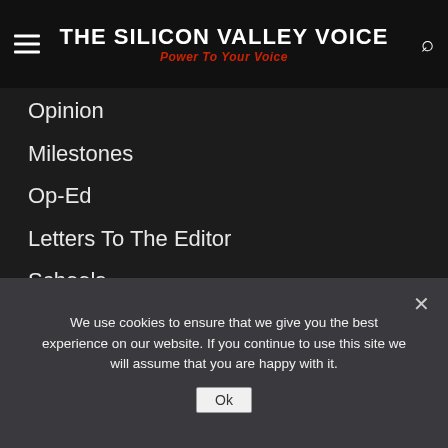THE SILICON VALLEY VOICE — Power To Your Voice
Opinion
Milestones
Op-Ed
Letters To The Editor
Schools
Public Safety
Arts & Entertainment
Sports
Business & Tech
Life Announcements
We use cookies to ensure that we give you the best experience on our website. If you continue to use this site we will assume that you are happy with it.